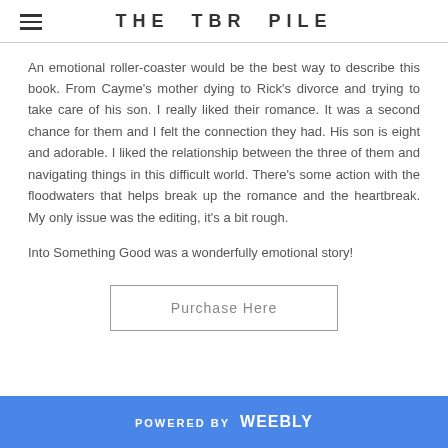THE TBR PILE
An emotional roller-coaster would be the best way to describe this book. From Cayme's mother dying to Rick's divorce and trying to take care of his son. I really liked their romance. It was a second chance for them and I felt the connection they had. His son is eight and adorable. I liked the relationship between the three of them and navigating things in this difficult world. There's some action with the floodwaters that helps break up the romance and the heartbreak. My only issue was the editing, it's a bit rough.
Into Something Good was a wonderfully emotional story!
Purchase Here
POWERED BY weebly